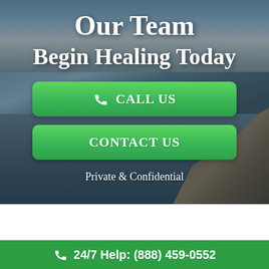Our Team
Begin Healing Today
CALL US
CONTACT US
Private & Confidential
24/7 Help: (888) 459-0552